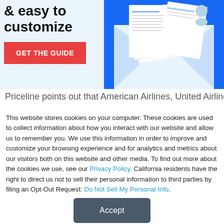[Figure (illustration): Promotional banner with text '& easy to customize', a red 'GET THE GUIDE' button on a light blue background, and decorative document/envelope illustration on a blue background on the right side.]
Priceline points out that American Airlines, United Airlines and
This website stores cookies on your computer. These cookies are used to collect information about how you interact with our website and allow us to remember you. We use this information in order to improve and customize your browsing experience and for analytics and metrics about our visitors both on this website and other media. To find out more about the cookies we use, see our Privacy Policy. California residents have the right to direct us not to sell their personal information to third parties by filing an Opt-Out Request: Do Not Sell My Personal Info.